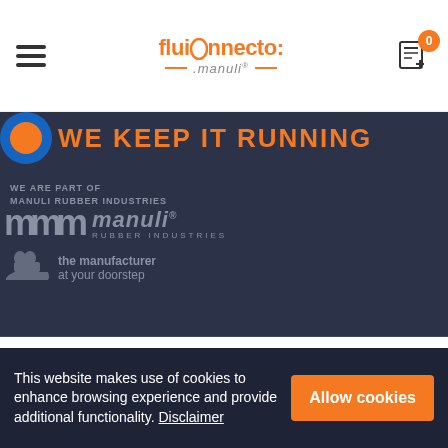fluiconnecto by manuli — navigation header with cart icon showing 0 items
WE KEEP IT RUNNING
WE ARE PART OF
MANULI RUBBER INDUSTRIES
[Figure (logo): Manuli Rubber Industries logo with stylized M letters and italic manuli text]
[Figure (logo): The manufacturer at your doorstep — logo with hand holding stylized M icon]
Cookie Policy
Privacy Policy
Terms & Services
[Figure (logo): LinkedIn social icon (in)]
This website makes use of cookies to enhance browsing experience and provide additional functionality. Disclaimer